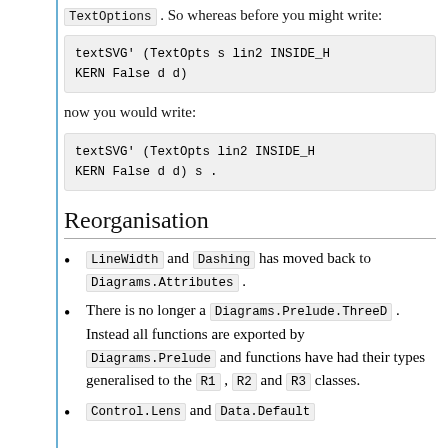TextOptions . So whereas before you might write:
textSVG' (TextOpts s lin2 INSIDE_H KERN False d d)
now you would write:
textSVG' (TextOpts lin2 INSIDE_H KERN False d d) s .
Reorganisation
LineWidth and Dashing has moved back to Diagrams.Attributes .
There is no longer a Diagrams.Prelude.ThreeD . Instead all functions are exported by Diagrams.Prelude and functions have had their types generalised to the R1 , R2 and R3 classes.
Control.Lens and Data.Default